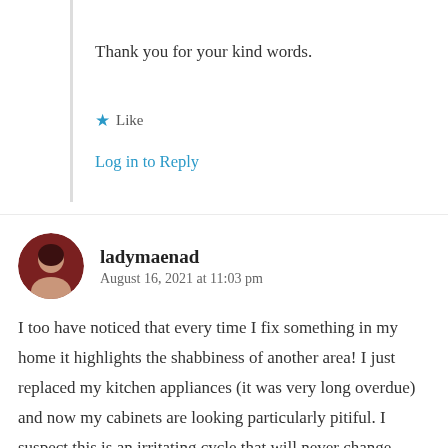Thank you for your kind words.
★ Like
Log in to Reply
ladymaenad
August 16, 2021 at 11:03 pm
I too have noticed that every time I fix something in my home it highlights the shabbiness of another area! I just replaced my kitchen appliances (it was very long overdue) and now my cabinets are looking particularly pitiful. I suspect this is an irritating cycle that will never change.